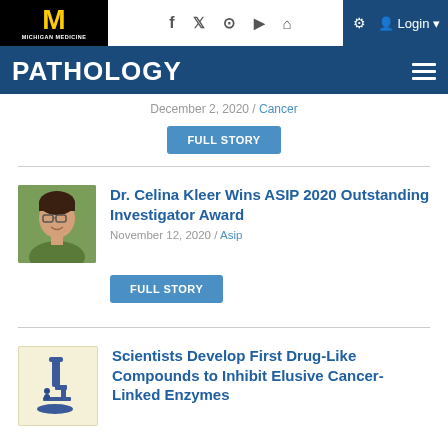[Figure (screenshot): Michigan Medicine logo with block M in yellow on black background]
PATHOLOGY
December 2, 2020 / Cancer
FULL STORY
[Figure (photo): Headshot of Dr. Celina Kleer, woman with glasses smiling outdoors]
Dr. Celina Kleer Wins ASIP 2020 Outstanding Investigator Award
November 12, 2020 / Asip
FULL STORY
[Figure (illustration): Microscope illustration on cream/yellow background]
Scientists Develop First Drug-Like Compounds to Inhibit Elusive Cancer-Linked Enzymes